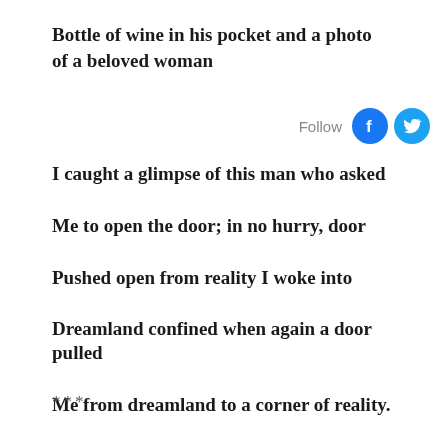Bottle of wine in his pocket and a photo of a beloved woman
[Figure (logo): Follow button with Facebook and Twitter social media icons]
I caught a glimpse of this man who asked
Me to open the door; in no hurry, door
Pushed open from reality I woke into
Dreamland confined when again a door pulled
Me from dreamland to a corner of reality.
***